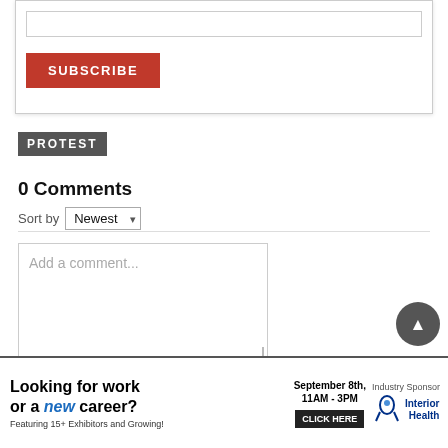[Figure (screenshot): Subscribe input box and orange SUBSCRIBE button inside a bordered card]
PROTEST
0 Comments
Sort by Newest
[Figure (screenshot): Add a comment... text input area (Facebook Comments Plugin)]
Facebook Comments Plugin
[Figure (screenshot): Advertisement banner: Looking for work or a new career? September 8th, 11AM-3PM. Featuring 15+ Exhibitors and Growing! CLICK HERE. Industry Sponsor: Interior Health]